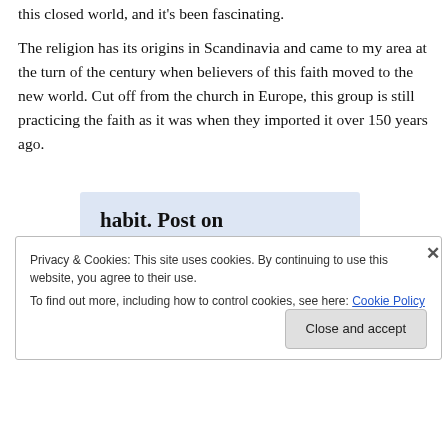this closed world, and it's been fascinating.
The religion has its origins in Scandinavia and came to my area at the turn of the century when believers of this faith moved to the new world. Cut off from the church in Europe, this group is still practicing the faith as it was when they imported it over 150 years ago.
[Figure (screenshot): WordPress app advertisement banner showing text 'habit. Post on the go.' with a GET THE APP link and WordPress logo]
Privacy & Cookies: This site uses cookies. By continuing to use this website, you agree to their use.
To find out more, including how to control cookies, see here: Cookie Policy
Close and accept